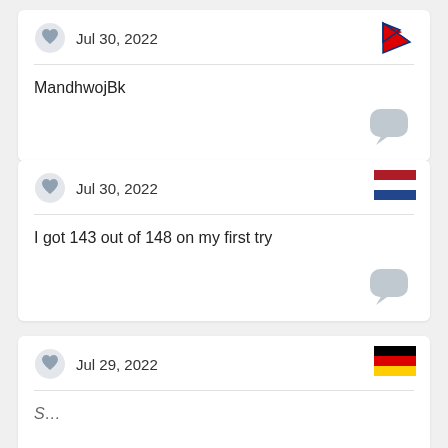Jul 30, 2022 | MandhwojBk
Jul 30, 2022 | I got 143 out of 148 on my first try
Jul 29, 2022